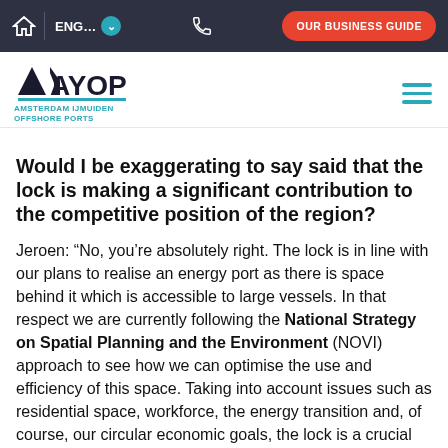ENG... | OUR BUSINESS GUIDE
[Figure (logo): AYOP Amsterdam IJmuiden Offshore Ports logo with teal geometric triangle/arrow shapes]
Would I be exaggerating to say said that the lock is making a significant contribution to the competitive position of the region?
Jeroen: “No, you’re absolutely right. The lock is in line with our plans to realise an energy port as there is space behind it which is accessible to large vessels. In that respect we are currently following the National Strategy on Spatial Planning and the Environment (NOVI) approach to see how we can optimise the use and efficiency of this space. Taking into account issues such as residential space, workforce, the energy transition and, of course, our circular economic goals, the lock is a crucial part of